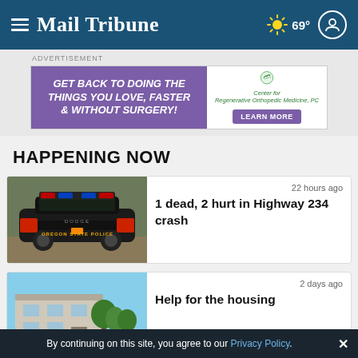Mail Tribune — 69°
ADVERTISEMENT
[Figure (illustration): Advertisement banner for Center for Regenerative Orthopedic Medicine, PC. Purple left panel with white bold italic text 'GET BACK TO DOING THE THINGS YOU LOVE, FASTER & WITHOUT SURGERY!'. White right panel with logo and 'LEARN MORE' purple button.]
HAPPENING NOW
[Figure (photo): Rear view of an Oregon State Police Dodge Charger patrol car with red and blue lights on top, parked outdoors.]
22 hours ago
1 dead, 2 hurt in Highway 234 crash
[Figure (photo): Exterior photo of a building with green trees in front, blue sky background.]
2 days ago
Help for the housing
By continuing on this site, you agree to our Privacy Policy.